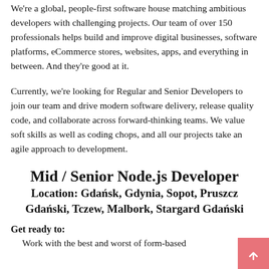We're a global, people-first software house matching ambitious developers with challenging projects. Our team of over 150 professionals helps build and improve digital businesses, software platforms, eCommerce stores, websites, apps, and everything in between. And they're good at it.
Currently, we're looking for Regular and Senior Developers to join our team and drive modern software delivery, release quality code, and collaborate across forward-thinking teams. We value soft skills as well as coding chops, and all our projects take an agile approach to development.
Mid / Senior Node.js Developer
Location: Gdańsk, Gdynia, Sopot, Pruszcz Gdański, Tczew, Malbork, Stargard Gdański
Get ready to:
Work with the best and worst of form-based...